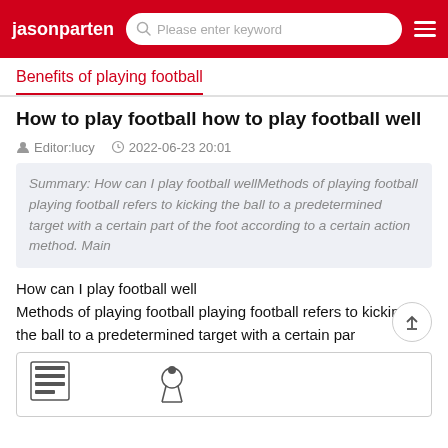jasonparten — Please enter keyword
Benefits of playing football
How to play football how to play football well
Editor:lucy  2022-06-23 20:01
Summary: How can I play football wellMethods of playing football playing football refers to kicking the ball to a predetermined target with a certain part of the foot according to a certain action method. Main
How can I play football well
Methods of playing football playing football refers to kicking the ball to a predetermined target with a certain par
[Figure (illustration): Partial illustration at the bottom of the page showing a document/book icon on the left and a soccer/football player icon on the right]